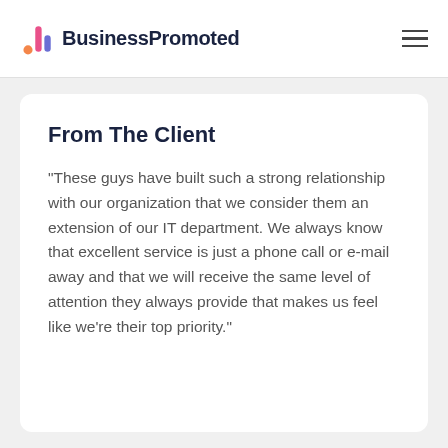BusinessPromoted
From The Client
“These guys have built such a strong relationship with our organization that we consider them an extension of our IT department. We always know that excellent service is just a phone call or e-mail away and that we will receive the same level of attention they always provide that makes us feel like we’re their top priority.”